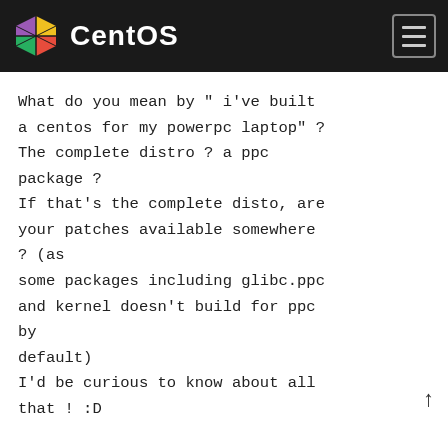CentOS
What do you mean by " i've built a centos for my powerpc laptop" ?
The complete distro ? a ppc package ?
If that's the complete disto, are your patches available somewhere ? (as
some packages including glibc.ppc and kernel doesn't build for ppc by
default)
I'd be curious to know about all that ! :D